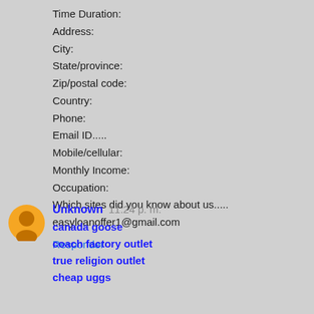Time Duration:
Address:
City:
State/province:
Zip/postal code:
Country:
Phone:
Email ID.....
Mobile/cellular:
Monthly Income:
Occupation:
Which sites did you know about us.....
easyloanoffer1@gmail.com
Responder
Unknown  11:24 p. m.
canada goose
coach factory outlet
true religion outlet
cheap uggs